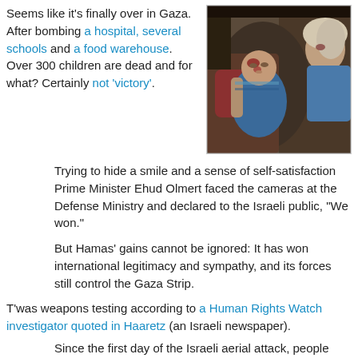Seems like it's finally over in Gaza. After bombing a hospital, several schools and a food warehouse. Over 300 children are dead and for what? Certainly not 'victory'.
[Figure (photo): Two injured children, one a baby with blood on face, being held by adult in distressed situation]
Trying to hide a smile and a sense of self-satisfaction Prime Minister Ehud Olmert faced the cameras at the Defense Ministry and declared to the Israeli public, "We won."
But Hamas' gains cannot be ignored: It has won international legitimacy and sympathy, and its forces still control the Gaza Strip.
T'was weapons testing according to a Human Rights Watch investigator quoted in Haaretz (an Israeli newspaper).
Since the first day of the Israeli aerial attack, people have been giving exact descriptions of the side effects of the bombing, and claiming that